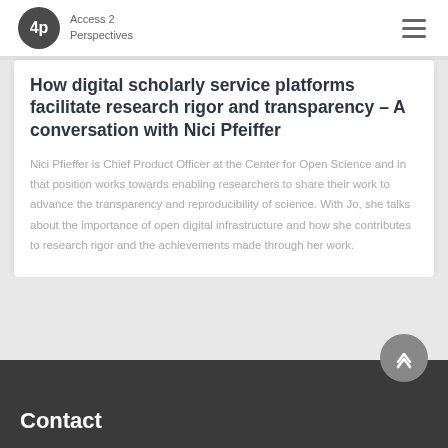Access 2 Perspectives
How digital scholarly service platforms facilitate research rigor and transparency – A conversation with Nici Pfeiffer
Nici Pfieffer is Chief Product Officer at the Center for Open Science and in that position works towards enabling researchers to share their work to advance the transparency and reproducibility of science. With Jo, she talks about the importance of open digital infrastructure and how she contributes to research rigor and the achievements made through her work.
Contact